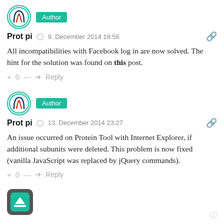[Figure (logo): Circular logo with teal border and stylized letter mark]
Author
Prot pi  9. December 2014 18:58
All incompatibilities with Facebook log in are now solved. The hint for the solution was found on this post.
+ 0 —  Reply
[Figure (logo): Circular logo with teal border and stylized letter mark]
Author
Prot pi  13. December 2014 23:27
An issue occurred on Protein Tool with Internet Explorer, if additional subunits were deleted. This problem is now fixed (vanilla JavaScript was replaced by jQuery commands).
+ 0 —  Reply